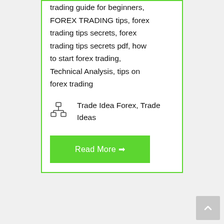trading guide for beginners, FOREX TRADING tips, forex trading tips secrets, forex trading tips secrets pdf, how to start forex trading, Technical Analysis, tips on forex trading
Trade Idea Forex, Trade Ideas
Read More →